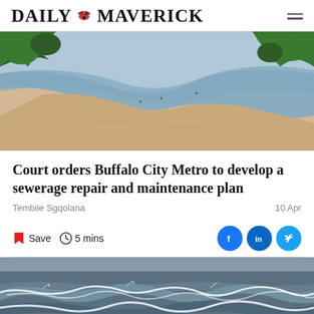DAILY MAVERICK
[Figure (photo): Aerial view of a sandy beach estuary with calm water channels, green vegetation on both sides, and people visible in the distance]
Court orders Buffalo City Metro to develop a sewerage repair and maintenance plan
Tembile Sgqolana
10 Apr
Save  5 mins
[Figure (photo): Ocean waves crashing on the shore, murky water with white sea foam, overcast sky]